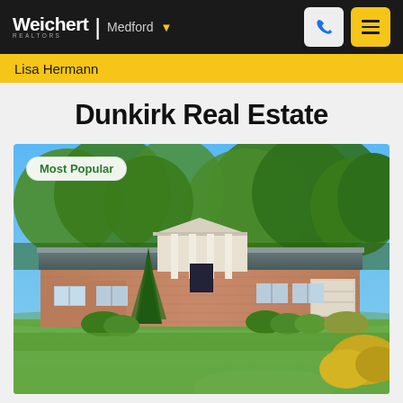Weichert | Medford
Lisa Hermann
Dunkirk Real Estate
[Figure (photo): Exterior photo of a single-story brick ranch house with white columns at the entrance, surrounded by large green trees and a manicured lawn. A 'Most Popular' badge appears in the upper left corner of the photo.]